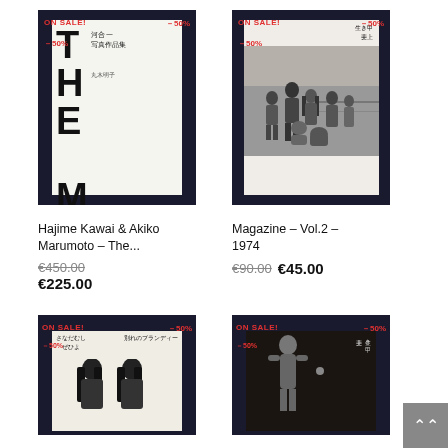[Figure (photo): Book cover for 'THE MAN' by Hajime Kawai & Akiko Marumoto, dark background with white/cream book showing large bold text 'THE MAN' and Japanese characters, with ON SALE -50% banner]
[Figure (photo): Magazine Vol.2 1974 cover showing a group of people in black and white photo, dark background, with ON SALE -50% banner]
Hajime Kawai & Akiko Marumoto - The...
€450.00  €225.00
Magazine - Vol.2 - 1974
€90.00  €45.00
[Figure (photo): Partial book cover with Japanese text and two long-haired figures, dark background, ON SALE -50% banner]
[Figure (photo): Partial book cover with figure/nude photo in dark tones, Japanese text, dark background, ON SALE -50% banner]